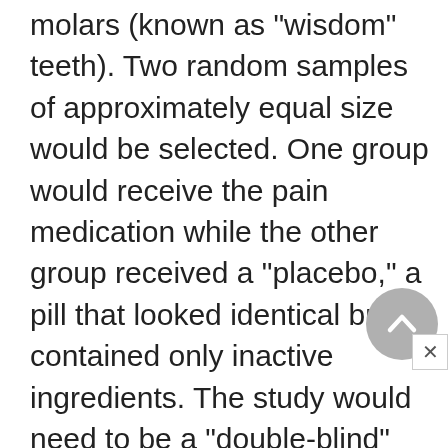molars (known as "wisdom" teeth). Two random samples of approximately equal size would be selected. One group would receive the pain medication while the other group received a "placebo," a pill that looked identical but contained only inactive ingredients. The study would need to be a "double-blind" experiment, which is designed so that neither the recipients nor the persons dispensing the pills knew which was which. Researchers would know who had